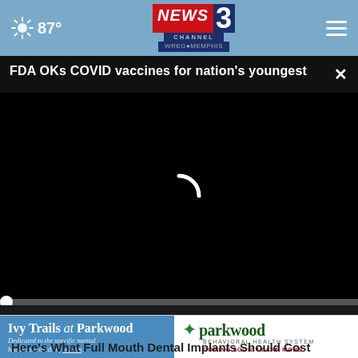87° NEWS CHANNEL 3 WREG MEMPHIS
FDA OKs COVID vaccines for nation's youngest
[Figure (screenshot): Video player area showing a black loading screen with a white spinner arc in the center, progress bar, and playback controls showing 00:00]
[Figure (photo): Partial view of a skin-tone close-up photo below the video player]
Here's What Full Mouth Dental Implants Should Cost You in
Dental I
[Figure (logo): Ivy Trails at Parkwood advertisement banner - Dedicated to the specific mental healthcare needs of women. Parkwood Behavioral Health System - COMING SOON! LEARN MORE.]